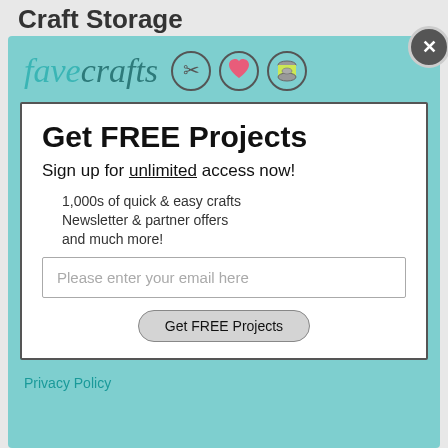Craft Storage
[Figure (logo): FaveCrafts logo with scissors, heart, and thread spool icons]
Get FREE Projects
Sign up for unlimited access now!
1,000s of quick & easy crafts
Newsletter & partner offers
and much more!
Please enter your email here
Get FREE Projects
Privacy Policy